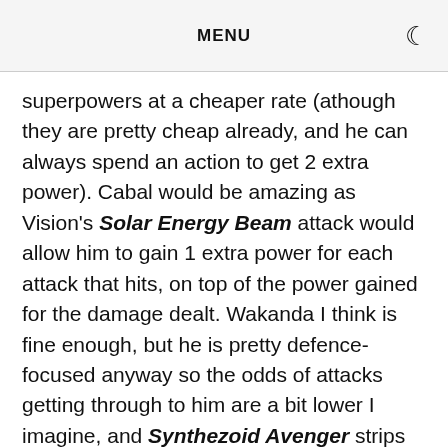MENU
superpowers at a cheaper rate (athough they are pretty cheap already, and he can always spend an action to get 2 extra power). Cabal would be amazing as Vision's Solar Energy Beam attack would allow him to gain 1 extra power for each attack that hits, on top of the power gained for the damage dealt. Wakanda I think is fine enough, but he is pretty defence-focused anyway so the odds of attacks getting through to him are a bit lower I imagine, and Synthezoid Avenger strips critials out of enemy defences anyway. This is one to try and see how it plays I guess. Asgardian could be good, allow [obscured] Vision to remove a special condtion or damage once per round – healing is always a welcome sight